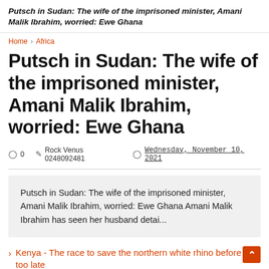Putsch in Sudan: The wife of the imprisoned minister, Amani Malik Ibrahim, worried: Ewe Ghana
Home > Africa
Putsch in Sudan: The wife of the imprisoned minister, Amani Malik Ibrahim, worried: Ewe Ghana
0  Rock Venus 0248092481  Wednesday, November 10, 2021
Putsch in Sudan: The wife of the imprisoned minister, Amani Malik Ibrahim, worried: Ewe Ghana Amani Malik Ibrahim has seen her husband detai...
Kenya - The race to save the northern white rhino before it's too late
Endangered Southern White Rhino to fly to Japan to